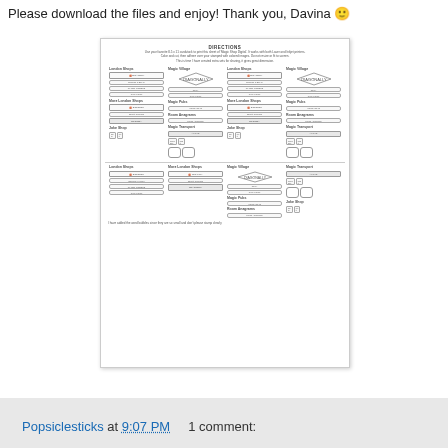Please download the files and enjoy! Thank you, Davina 🙂
[Figure (illustration): A preview image of a printed craft sheet showing rubber stamp designs labeled London Shops, Magic Village, Magic Pubs, More London Shops, Magic Transport, Joke Shop — shown in a 4-column grid layout with diamond shapes, pill-shaped stamps, and speech bubble shapes. Document has directions at the top.]
Popsiclesticks at 9:07 PM    1 comment: